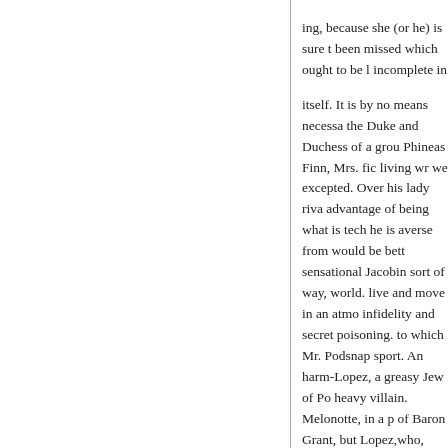ing, because she (or he) is sure t been missed which ought to be l incomplete in
itself. It is by no means necessa the Duke and Duchess of a grou Phineas Finn, Mrs. fic living wr we excepted. Over his lady riva advantage of being what is tech he is averse from would be bett sensational Jacobin sort of way, world. live and move in an atmo infidelity and secret poisoning. to which Mr. Podsnap sport. An harm-Lopez, a greasy Jew of Po heavy villain. Melonotte, in a p of Baron Grant, but Lopez,who, guano, Guatemalan displayed in attender passion, and presenting cunningly differentiated, forms